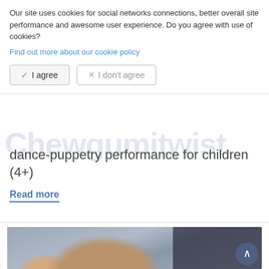Our site uses cookies for social networks connections, better overall site performance and awesome user experience. Do you agree with use of cookies?
Find out more about our cookie policy
✓ I agree
✕ I don't agree
Chewgumitwist
dance-puppetry performance for children (4+)
Read more
[Figure (photo): Child lying down viewed from above, showing top of head with brown hair and hand extended, wearing clothing with star pattern on right side]